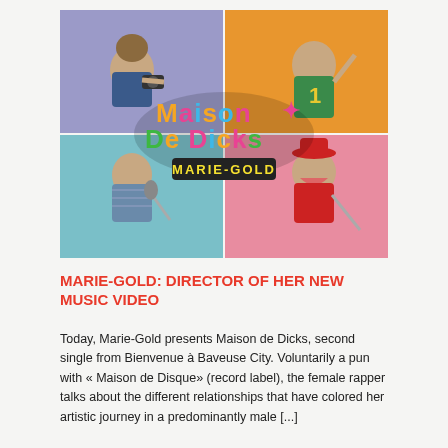[Figure (photo): A 2x2 grid of images showing four clay/puppet characters on colored backgrounds (purple, orange, teal, pink), with a colorful stylized logo reading 'Maison de Dicks' and 'Marie-Gold' overlaid in the center.]
MARIE-GOLD: DIRECTOR OF HER NEW MUSIC VIDEO
Today, Marie-Gold presents Maison de Dicks, second single from Bienvenue à Baveuse City. Voluntarily a pun with « Maison de Disque» (record label), the female rapper talks about the different relationships that have colored her artistic journey in a predominantly male [...]